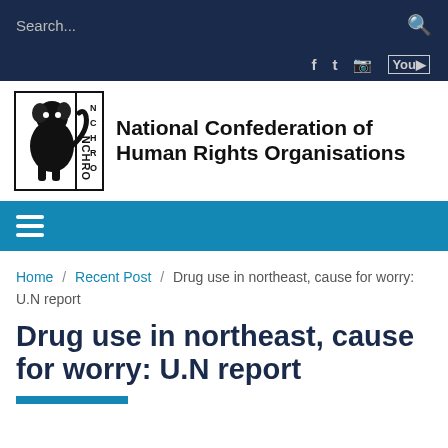Search...
[Figure (logo): NCHRO logo with emblem and text: National Confederation of Human Rights Organisations]
Home / Recent Post / Drug use in northeast, cause for worry: U.N report
Drug use in northeast, cause for worry: U.N report